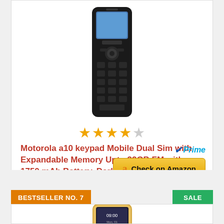[Figure (photo): Motorola a10 keypad mobile phone product photo, dark colored phone with numeric keypad]
★★★★☆
Motorola a10 keypad Mobile Dual Sim with Expandable Memory Upto 32GB,FM with 1750 mAh Battery, Dark...
[Figure (logo): Amazon Prime logo with checkmark and 'Prime' text in blue italic]
Check on Amazon
BESTSELLER NO. 7
SALE
[Figure (photo): Second mobile phone product photo, gold/champagne colored feature phone with screen showing 09:00]